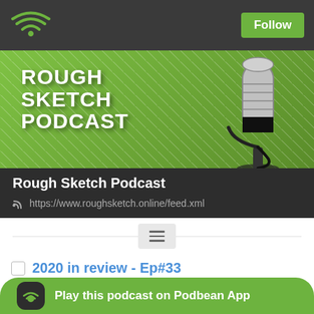Follow
[Figure (logo): Rough Sketch Podcast banner with microphone illustration and green background]
Rough Sketch Podcast
https://www.roughsketch.online/feed.xml
2020 in review - Ep#33
December 28, 2020
Hello there, well it's been a bit of a year huh? 2020 I think has been a bit of a trial for a lot of us, but we go through it. A huge thank you to all of the guests that we have had this year. Without them, we w wonderful to have th .
Play this podcast on Podbean App